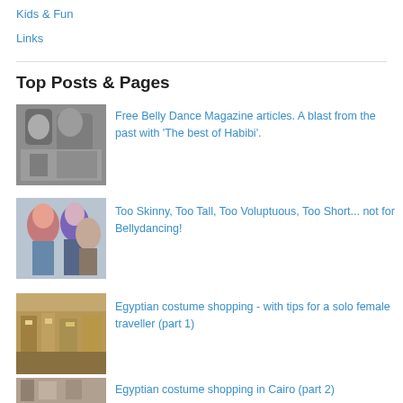Kids & Fun
Links
Top Posts & Pages
[Figure (photo): Black and white photo of people dancing]
Free Belly Dance Magazine articles. A blast from the past with 'The best of Habibi'.
[Figure (photo): Photo of three women with colorful hair]
Too Skinny, Too Tall, Too Voluptuous, Too Short... not for Bellydancing!
[Figure (photo): Photo of a Cairo market street scene]
Egyptian costume shopping - with tips for a solo female traveller (part 1)
[Figure (photo): Photo partially visible at bottom]
Egyptian costume shopping in Cairo (part 2)